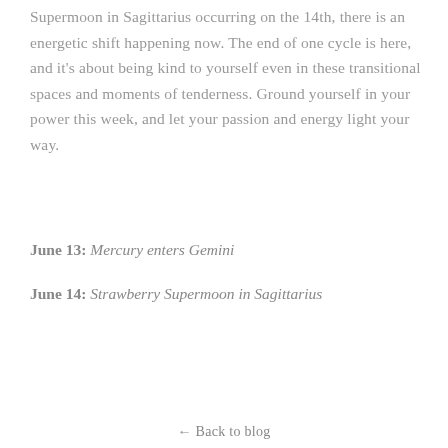Supermoon in Sagittarius occurring on the 14th, there is an energetic shift happening now. The end of one cycle is here, and it's about being kind to yourself even in these transitional spaces and moments of tenderness. Ground yourself in your power this week, and let your passion and energy light your way.
June 13: Mercury enters Gemini
June 14: Strawberry Supermoon in Sagittarius
← Back to blog